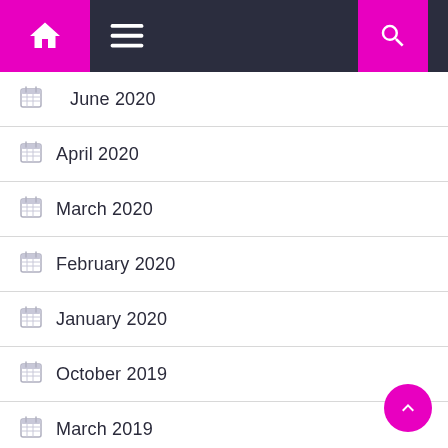Navigation bar with home, menu, and search icons
June 2020
April 2020
March 2020
February 2020
January 2020
October 2019
March 2019
February 2019
July 2018